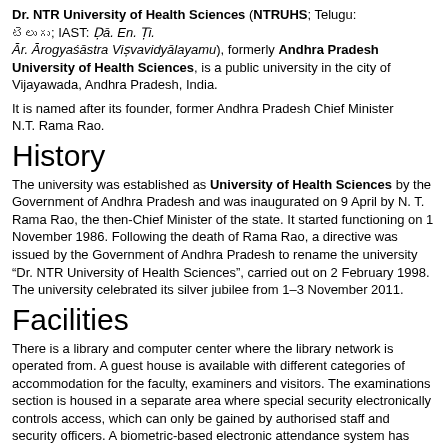Dr. NTR University of Health Sciences (NTRUHS; Telugu: [Telugu script]; IAST: Ḍā. En. Ṭi. Ār. Ārogyaśāstra Viṣvavidyālayamu), formerly Andhra Pradesh University of Health Sciences, is a public university in the city of Vijayawada, Andhra Pradesh, India.
It is named after its founder, former Andhra Pradesh Chief Minister N.T. Rama Rao.
History
The university was established as University of Health Sciences by the Government of Andhra Pradesh and was inaugurated on 9 April by N. T. Rama Rao, the then-Chief Minister of the state. It started functioning on 1 November 1986. Following the death of Rama Rao, a directive was issued by the Government of Andhra Pradesh to rename the university "Dr. NTR University of Health Sciences", carried out on 2 February 1998. The university celebrated its silver jubilee from 1–3 November 2011.
Facilities
There is a library and computer center where the library network is operated from. A guest house is available with different categories of accommodation for the faculty, examiners and visitors. The examinations section is housed in a separate area where special security electronically controls access, which can only be gained by authorised staff and security officers. A biometric-based electronic attendance system has also been institutionally implemented.
Admission and courses
The admission for the convener quota is based on an individual applicant's rank based that individuals performance on the EAMCET.